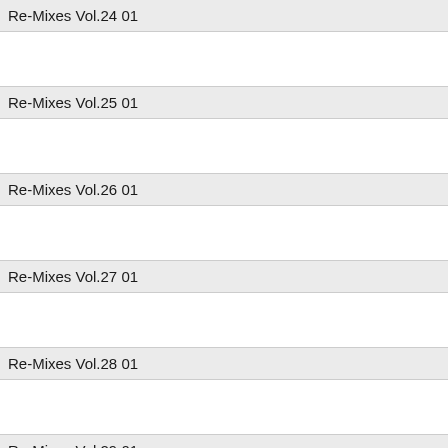Re-Mixes Vol.24 01
Re-Mixes Vol.25 01
Re-Mixes Vol.26 01
Re-Mixes Vol.27 01
Re-Mixes Vol.28 01
Re-Mixes Vol.29 01